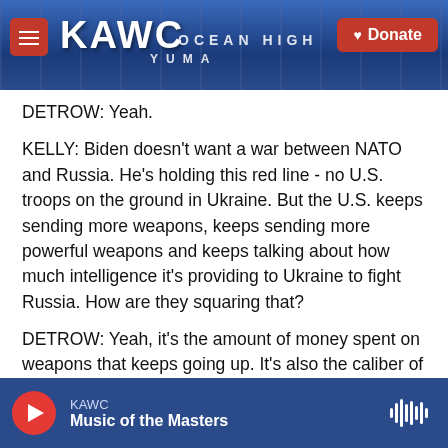KAWC — Donate
DETROW: Yeah.
KELLY: Biden doesn't want a war between NATO and Russia. He's holding this red line - no U.S. troops on the ground in Ukraine. But the U.S. keeps sending more weapons, keeps sending more powerful weapons and keeps talking about how much intelligence it's providing to Ukraine to fight Russia. How are they squaring that?
DETROW: Yeah, it's the amount of money spent on weapons that keeps going up. It's also the caliber of the weapons up to today's announcement of these
KAWC — Music of the Masters